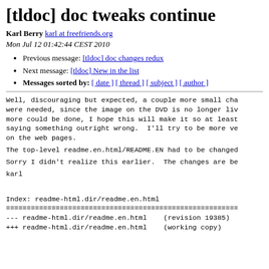[tldoc] doc tweaks continue
Karl Berry karl at freefriends.org
Mon Jul 12 01:42:44 CEST 2010
Previous message: [tldoc] doc changes redux
Next message: [tldoc] New in the list
Messages sorted by: [ date ] [ thread ] [ subject ] [ author ]
Well, discouraging but expected, a couple more small cha were needed, since the image on the DVD is no longer liv more could be done, I hope this will make it so at least saying something outright wrong.  I'll try to be more ve on the web pages.
The top-level readme.en.html/README.EN had to be changed
Sorry I didn't realize this earlier.  The changes are be
karl
Index: readme-html.dir/readme.en.html
========================================
--- readme-html.dir/readme.en.html    (revision 19385)
+++ readme-html.dir/readme.en.html    (working copy)